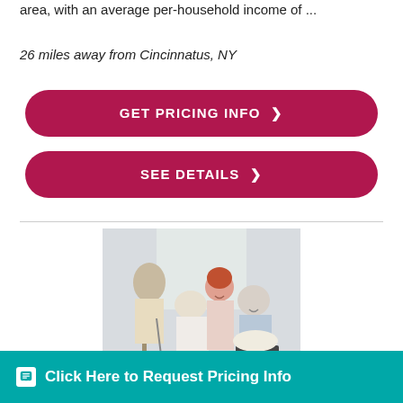area, with an average per-household income of ...
26 miles away from Cincinnatus, NY
GET PRICING INFO ›
SEE DETAILS ›
[Figure (photo): Group of elderly residents and a caregiver smiling together in a senior care facility; an elderly man with a cane is visible in the background.]
Click Here to Request Pricing Info